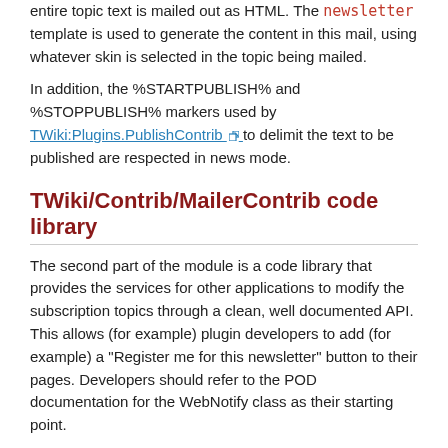entire topic text is mailed out as HTML. The newsletter template is used to generate the content in this mail, using whatever skin is selected in the topic being mailed.
In addition, the %STARTPUBLISH% and %STOPPUBLISH% markers used by TWiki:Plugins.PublishContrib to delimit the text to be published are respected in news mode.
TWiki/Contrib/MailerContrib code library
The second part of the module is a code library that provides the services for other applications to modify the subscription topics through a clean, well documented API. This allows (for example) plugin developers to add (for example) a "Register me for this newsletter" button to their pages. Developers should refer to the POD documentation for the WebNotify class as their starting point.
Installation Instructions
You do not need to install anything in the browser to use this extension. The following instructions are for the administrator